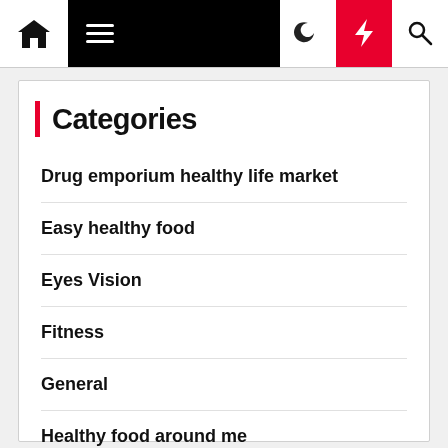Navigation bar with home, menu, moon, bolt, and search icons
Categories
Drug emporium healthy life market
Easy healthy food
Eyes Vision
Fitness
General
Healthy food around me
Healthy food for kids
Healthy life...